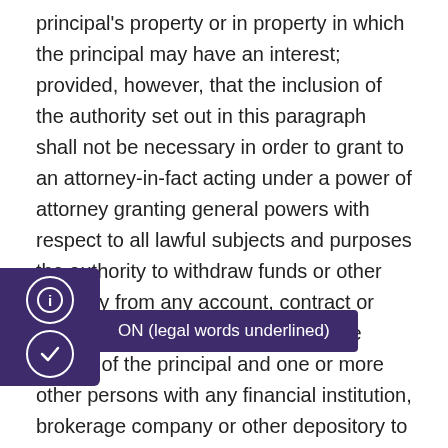principal's property or in property in which the principal may have an interest; provided, however, that the inclusion of the authority set out in this paragraph shall not be necessary in order to grant to an attorney-in-fact acting under a power of attorney granting general powers with respect to all lawful subjects and purposes the authority to withdraw funds or other property from any account, contract or other similar arrangement held in the names of the principal and one or more other persons with any financial institution, brokerage company or other depository to the same extent that the principal would be authorized to do if the principal were competent, not disabled or incapacitated, and seeking to act in the principal's own behalf;
To designate or change the designation of beneficiaries